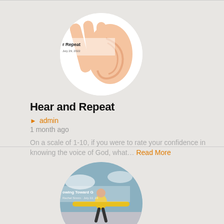[Figure (photo): Circular thumbnail image of a human ear with a hand cupped behind it, on white background. Text overlay reads 'Hear and Repeat' and 'July 29, 2022'.]
Hear and Repeat
admin
1 month ago
On a scale of 1-10, if you were to rate your confidence in knowing the voice of God, what… Read More
[Figure (photo): Circular thumbnail image showing a person in a yellow rain jacket with arms outstretched against a cloudy sky background. Text overlay reads 'Growing Toward G...' and 'Rachel Sinnin · July 22, 20...']
Growing Toward Glory
admin
1 month ago